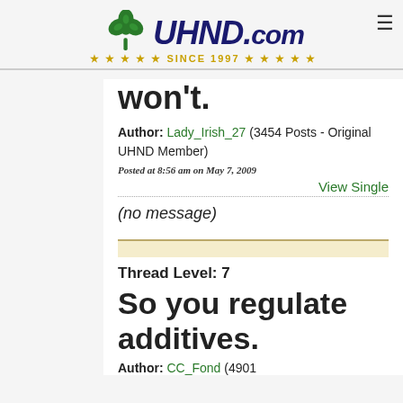[Figure (logo): UHND.com logo with green shamrock and navy/italic logotype, SINCE 1997 in gold stars below]
won't.
Author: Lady_Irish_27 (3454 Posts - Original UHND Member)
Posted at 8:56 am on May 7, 2009
View Single
(no message)
Thread Level: 7
So you regulate additives.
Author: CC_Fond (4901